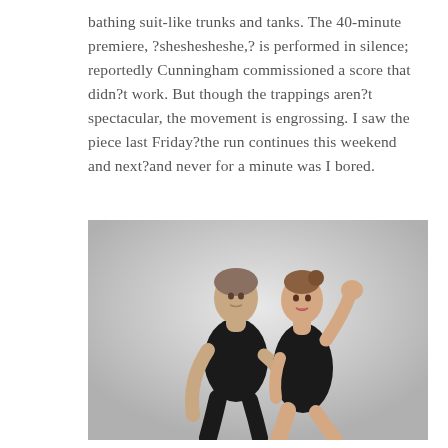bathing suit-like trunks and tanks. The 40-minute premiere, ?sheshesheshe,? is performed in silence; reportedly Cunningham commissioned a score that didn?t work. But though the trappings aren?t spectacular, the movement is engrossing. I saw the piece last Friday?the run continues this weekend and next?and never for a minute was I bored.
[Figure (photo): Two dancers in black attire performing together. A male dancer in a sleeveless black top supports a female dancer in a black leotard who has one arm raised with a clenched fist, against a light gray background.]